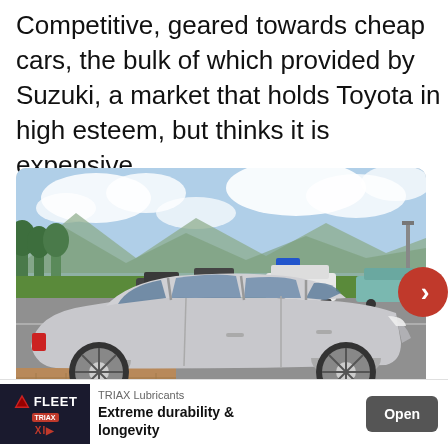Competitive, geared towards cheap cars, the bulk of which provided by Suzuki, a market that holds Toyota in high esteem, but thinks it is expensive.
[Figure (photo): Side profile photograph of a silver Toyota Etios sedan parked in a parking lot with trees, mountains, and a blue sky in the background. Other cars are visible in the background along with a blue parking sign.]
TRIAX Lubricants — Extreme durability & longevity — Open